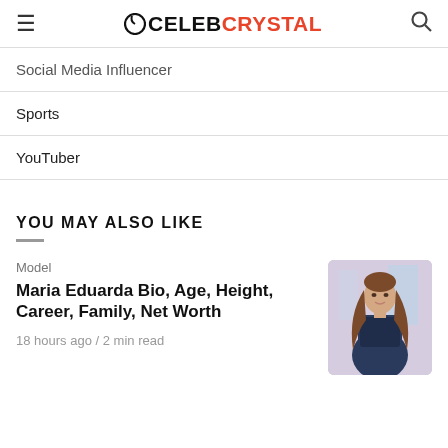CELEBCRYSTAL
Social Media Influencer
Sports
YouTuber
YOU MAY ALSO LIKE
Model
Maria Eduarda Bio, Age, Height, Career, Family, Net Worth
18 hours ago / 2 min read